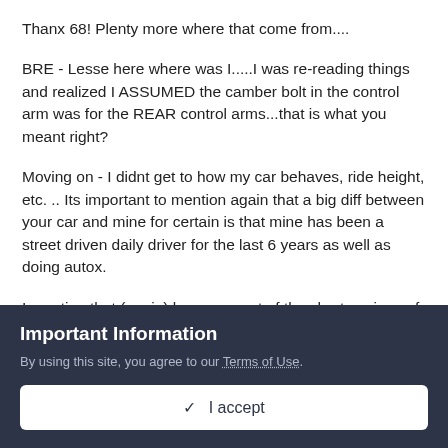Thanx 68! Plenty more where that come from....
BRE - Lesse here where was I.....I was re-reading things and realized I ASSUMED the camber bolt in the control arm was for the REAR control arms...that is what you meant right?
Moving on - I didnt get to how my car behaves, ride height, etc. .. Its important to mention again that a big diff between your car and mine for certain is that mine has been a street driven daily driver for the last 6 years as well as doing autox.
I mention that (again) because,part of the shortcomings of my car are its ride height and conservative handling characteristics by autox standards. Were I to lower the car more, and perhaps trade a little caster for camber i would get something quicker for
Important Information
By using this site, you agree to our Terms of Use.
✓  I accept